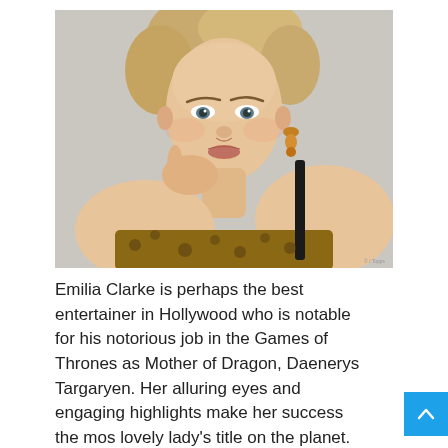[Figure (photo): Portrait photo of Emilia Clarke, a woman with blonde hair in an updo, wearing amber drop earrings and a leopard-print top with a black strap. She is resting her chin/hand near her face and looking slightly upward. The background is light gray/white. There is a small photo credit watermark in the bottom right corner.]
Emilia Clarke is perhaps the best entertainer in Hollywood who is notable for his notorious job in the Games of Thrones as Mother of Dragon, Daenerys Targaryen. Her alluring eyes and engaging highlights make her success the most lovely lady's title on the planet.